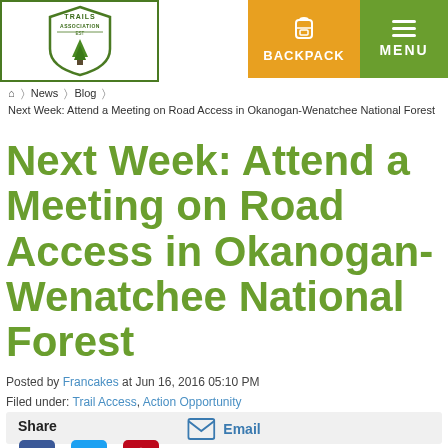[Figure (logo): Washington Trails Association logo with shield and tree]
BACKPACK  MENU
Home > News > Blog > Next Week: Attend a Meeting on Road Access in Okanogan-Wenatchee National Forest
Next Week: Attend a Meeting on Road Access in Okanogan-Wenatchee National Forest
Posted by Francakes at Jun 16, 2016 05:10 PM
Filed under: Trail Access, Action Opportunity
Share
[Figure (infographic): Social share icons: Facebook, Twitter, Pinterest, Print, Email]